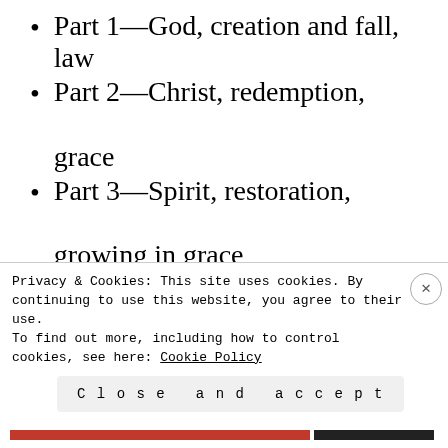Part 1—God, creation and fall, law
Part 2—Christ, redemption, grace
Part 3—Spirit, restoration, growing in grace
Each question is accompanied by this enlightening content:
A key supporting passage from…
Privacy & Cookies: This site uses cookies. By continuing to use this website, you agree to their use.
To find out more, including how to control cookies, see here: Cookie Policy
Close and accept